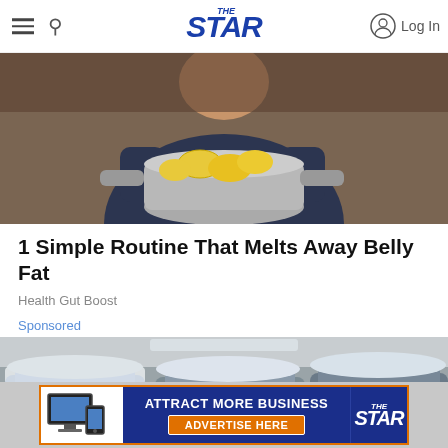THE STAR — Log In
[Figure (photo): Person in dark patterned shirt holding a large stainless steel pot filled with lemon slices in a kitchen setting]
1 Simple Routine That Melts Away Belly Fat
Health Gut Boost
Sponsored
[Figure (photo): Snow-covered cars parked in a lot, showing frosted windshields and rooftops]
[Figure (infographic): Bottom banner advertisement: ATTRACT MORE BUSINESS — ADVERTISE HERE — The Star logo]